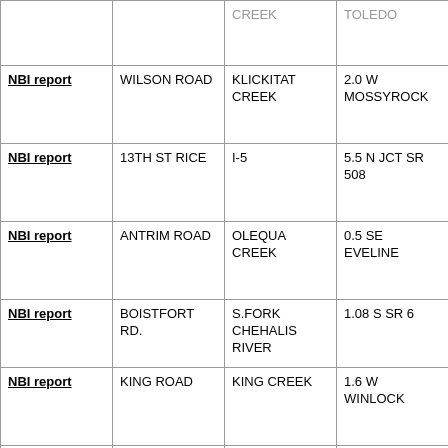| NBI report | WILSON ROAD | KLICKITAT CREEK | 2.0 W MOSSYROCK |
| NBI report | 13TH ST RICE | I-5 | 5.5 N JCT SR 508 |
| NBI report | ANTRIM ROAD | OLEQUA CREEK | 0.5 SE EVELINE |
| NBI report | BOISTFORT RD. | S.FORK CHEHALIS RIVER | 1.08 S SR 6 |
| NBI report | KING ROAD | KING CREEK | 1.6 W WINLOCK |
| NBI report | MEADE HILL ROAD | RAINEY CREEK | 1.0 E GLENOMA |
| NBI report | NO DATA | CISPUS RIVER | 16 1/2 MILES |